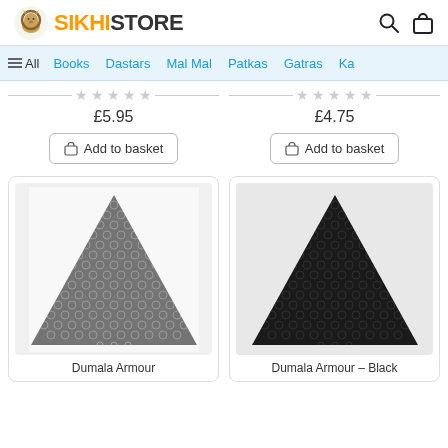SIKHI STORE
≡ All   Books   Dastars   Mal Mal   Patkas   Gatras   Ka...
£5.95
Add to basket
£4.75
Add to basket
[Figure (photo): Triangular chain mail armour piece in dark silver/gunmetal finish (Dumala Armour)]
Dumala Armour
[Figure (photo): Triangular chain mail armour piece in black finish (Dumala Armour – Black)]
Dumala Armour – Black